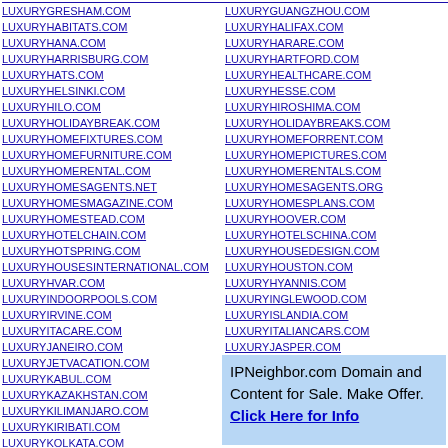LUXURYGRESHAM.COM
LUXURYHABITATS.COM
LUXURYHANA.COM
LUXURYHARRISBURG.COM
LUXURYHATS.COM
LUXURYHELSINKI.COM
LUXURYHILO.COM
LUXURYHOLIDAYBREAK.COM
LUXURYHOMEFIXTURES.COM
LUXURYHOMEFURNITURE.COM
LUXURYHOMERENTAL.COM
LUXURYHOMESAGENTS.NET
LUXURYHOMESMAGAZINE.COM
LUXURYHOMESTEAD.COM
LUXURYHOTELCHAIN.COM
LUXURYHOTSPRING.COM
LUXURYHOUSESINTERNATIONAL.COM
LUXURYHVAR.COM
LUXURYINDOORPOOLS.COM
LUXURYIRVINE.COM
LUXURYITACARE.COM
LUXURYJANEIRO.COM
LUXURYJETVACATION.COM
LUXURYKABUL.COM
LUXURYKAZAKHSTAN.COM
LUXURYKILIMANJARO.COM
LUXURYKIRIBATI.COM
LUXURYKOLKATA.COM
LUXURYGUANGZHOU.COM
LUXURYHALIFAX.COM
LUXURYHARARE.COM
LUXURYHARTFORD.COM
LUXURYHEALTHCARE.COM
LUXURYHESSE.COM
LUXURYHIROSHIMA.COM
LUXURYHOLIDAYBREAKS.COM
LUXURYHOMEFORRENT.COM
LUXURYHOMEPICTURES.COM
LUXURYHOMERENTALS.COM
LUXURYHOMESAGENTS.ORG
LUXURYHOMESPLANS.COM
LUXURYHOOVER.COM
LUXURYHOTELSCHINA.COM
LUXURYHOUSEDESIGN.COM
LUXURYHOUSTON.COM
LUXURYHYANNIS.COM
LUXURYINGLEWOOD.COM
LUXURYISLANDIA.COM
LUXURYITALIANCARS.COM
LUXURYJASPER.COM
LUXURYJORDANIA.COM
IPNeighbor.com Domain and Content for Sale. Make Offer. Click Here for Info